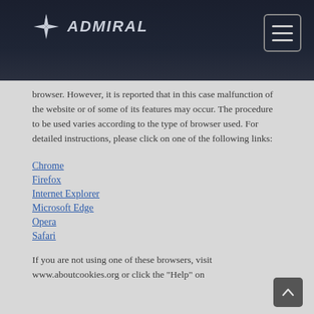[Figure (logo): Admiral logo with star icon and ADMIRAL text in italic on dark navy header]
browser. However, it is reported that in this case malfunction of the website or of some of its features may occur. The procedure to be used varies according to the type of browser used. For detailed instructions, please click on one of the following links:
Chrome
Firefox
Internet Explorer
Microsoft Edge
Opera
Safari
If you are not using one of these browsers, visit www.aboutcookies.org or click the “Help” on